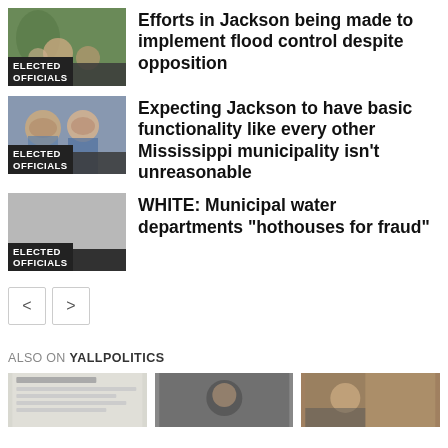[Figure (photo): Thumbnail photo of people outdoors, labeled ELECTED OFFICIALS]
Efforts in Jackson being made to implement flood control despite opposition
[Figure (photo): Thumbnail photo of two people, labeled ELECTED OFFICIALS]
Expecting Jackson to have basic functionality like every other Mississippi municipality isn’t unreasonable
[Figure (photo): Thumbnail placeholder, labeled ELECTED OFFICIALS]
WHITE: Municipal water departments “hothouses for fraud”
< >
ALSO ON YALLPOLITICS
[Figure (screenshot): Small preview image 1 with text]
[Figure (photo): Small preview photo 2]
[Figure (photo): Small preview photo 3]